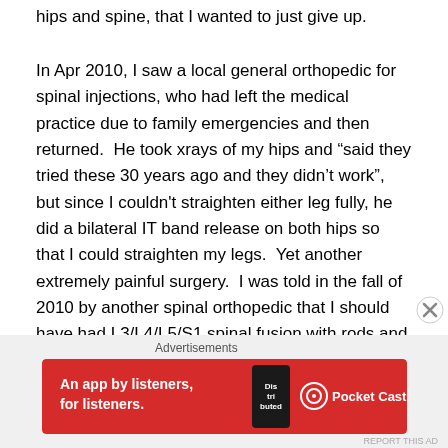hips and spine, that I wanted to just give up.
In Apr 2010, I saw a local general orthopedic for spinal injections, who had left the medical practice due to family emergencies and then returned.  He took xrays of my hips and “said they tried these 30 years ago and they didn’t work”, but since I couldn't straighten either leg fully, he did a bilateral IT band release on both hips so that I could straighten my legs.  Yet another extremely painful surgery.  I was told in the fall of 2010 by another spinal orthopedic that I should have had L3/L4/L5/S1 spinal fusion with rods and a cage in 2009.
In 2011 I saw a diagnostic spinal surgeon at the original
[Figure (infographic): Red banner advertisement for Pocket Casts app. Text reads 'An app by listeners, for listeners.' with Pocket Casts logo and a phone image showing 'Distributed' text.]